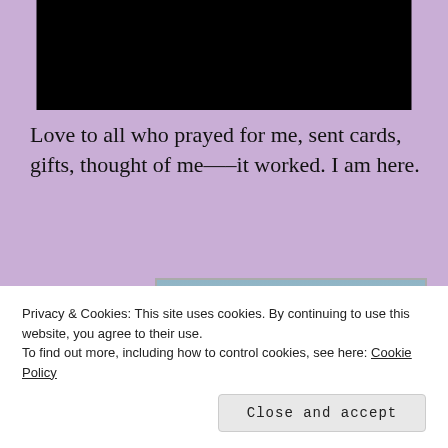[Figure (other): Redacted black bar covering a profile image or header at the top center of the page]
Love to all who prayed for me, sent cards, gifts, thought of me—–it worked. I am here.
[Figure (photo): A meme image showing text 'I put my symptoms on WebMD and it turns out' over a beach scene with a hand holding a drink with a decorative garnish, with UI close button (x) and tag/dots icons visible]
Privacy & Cookies: This site uses cookies. By continuing to use this website, you agree to their use.
To find out more, including how to control cookies, see here: Cookie Policy
Close and accept